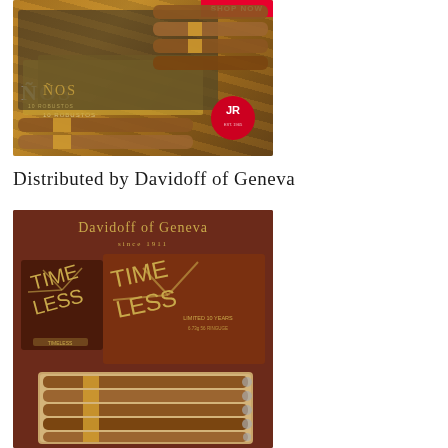[Figure (photo): Photo of cigar boxes with '10 Robustos' labeling and 'AÑOS' text, with a red 'SHOP NOW' button in the top right and a red JR (JR Cigars) circular logo badge on the lower right of the image.]
Distributed by Davidoff of Geneva
[Figure (photo): Photo showing Davidoff of Geneva branding with 'since 1911' text on a dark brown background. Two 'TIMELESS' branded cigar boxes are displayed alongside an open wooden cigar box containing a row of cigars. Text reads 'LIMITED 10 YEARS'.]